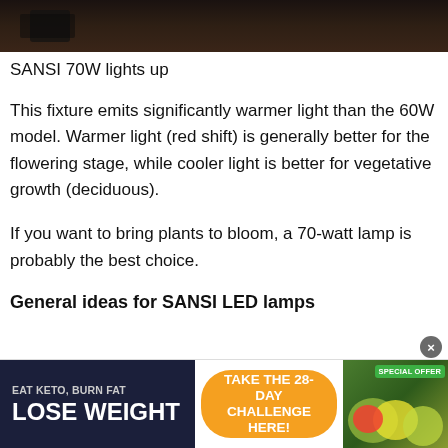[Figure (photo): Dark photo strip showing SANSI 70W light setup on a wooden surface]
SANSI 70W lights up
This fixture emits significantly warmer light than the 60W model. Warmer light (red shift) is generally better for the flowering stage, while cooler light is better for vegetative growth (deciduous).
If you want to bring plants to bloom, a 70-watt lamp is probably the best choice.
General ideas for SANSI LED lamps
[Figure (infographic): Advertisement banner: EAT KETO, BURN FAT / LOSE WEIGHT / TAKE THE 28-DAY CHALLENGE HERE! / SPECIAL OFFER with vegetable imagery]